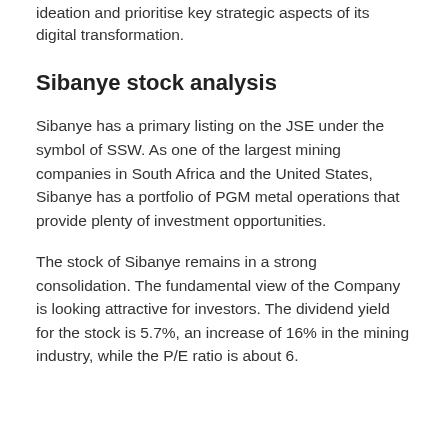ideation and prioritise key strategic aspects of its digital transformation.
Sibanye stock analysis
Sibanye has a primary listing on the JSE under the symbol of SSW. As one of the largest mining companies in South Africa and the United States, Sibanye has a portfolio of PGM metal operations that provide plenty of investment opportunities.
The stock of Sibanye remains in a strong consolidation. The fundamental view of the Company is looking attractive for investors. The dividend yield for the stock is 5.7%, an increase of 16% in the mining industry, while the P/E ratio is about 6.